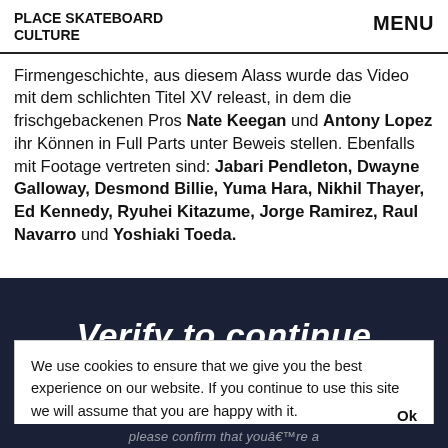PLACE SKATEBOARD CULTURE | MENU
Firmengeschichte, aus diesem Alass wurde das Video mit dem schlichten Titel XV releast, in dem die frischgebackenen Pros Nate Keegan und Antony Lopez ihr Können in Full Parts unter Beweis stellen. Ebenfalls mit Footage vertreten sind: Jabari Pendleton, Dwayne Galloway, Desmond Billie, Yuma Hara, Nikhil Thayer, Ed Kennedy, Ryuhei Kitazume, Jorge Ramirez, Raul Navarro und Yoshiaki Toeda.
[Figure (screenshot): Dark navy background with 'Verify to continue' text overlaid by a cookie consent popup. The popup reads: 'We use cookies to ensure that we give you the best experience on our website. If you continue to use this site we will assume that you are happy with it. Ok'. Below the popup, partially visible text reads 'please confirm that youâ€™re a'.]